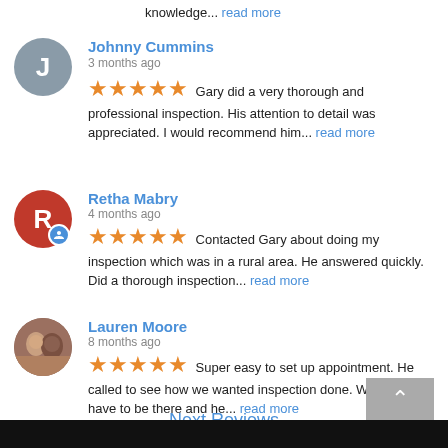knowledge... read more
Johnny Cummins
3 months ago
★★★★★ Gary did a very thorough and professional inspection. His attention to detail was appreciated. I would recommend him... read more
Retha Mabry
4 months ago
★★★★★ Contacted Gary about doing my inspection which was in a rural area. He answered quickly. Did a thorough inspection... read more
Lauren Moore
8 months ago
★★★★★ Super easy to set up appointment. He called to see how we wanted inspection done. We didn't have to be there and he... read more
Next Reviews